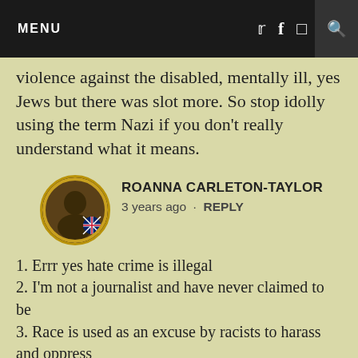MENU
violence against the disabled, mentally ill, yes Jews but there was slot more. So stop idolly using the term Nazi if you don’t really understand what it means.
ROANNA CARLETON-TAYLOR
3 years ago · REPLY
1. Errr yes hate crime is illegal
2. I’m not a journalist and have never claimed to be
3. Race is used as an excuse by racists to harass and oppress
4. Prejudice against one group is no justification to do the same to another
5. I do understand the term Nazi and I most certainly will not be taking any lessons from